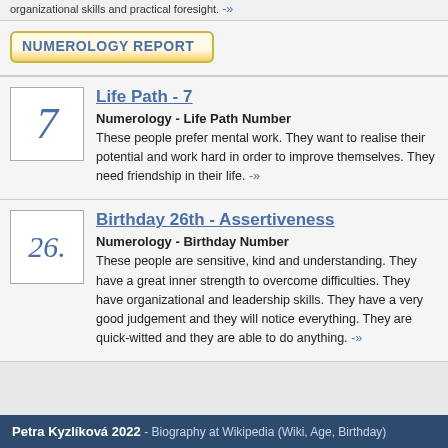organizational skills and practical foresight. -»
NUMEROLOGY REPORT
Life Path - 7
Numerology - Life Path Number
These people prefer mental work. They want to realise their potential and work hard in order to improve themselves. They need friendship in their life. -»
Birthday 26th - Assertiveness
Numerology - Birthday Number
These people are sensitive, kind and understanding. They have a great inner strength to overcome difficulties. They have organizational and leadership skills. They have a very good judgement and they will notice everything. They are quick-witted and they are able to do anything. -»
Petra Kyzlíková 2022 - Biography at Wikipedia (Wiki, Age, Birthday)